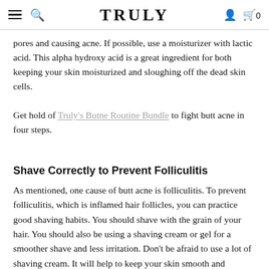TRULY
pores and causing acne. If possible, use a moisturizer with lactic acid. This alpha hydroxy acid is a great ingredient for both keeping your skin moisturized and sloughing off the dead skin cells.
Get hold of Truly's Butne Routine Bundle to fight butt acne in four steps.
Shave Correctly to Prevent Folliculitis
As mentioned, one cause of butt acne is folliculitis. To prevent folliculitis, which is inflamed hair follicles, you can practice good shaving habits. You should shave with the grain of your hair. You should also be using a shaving cream or gel for a smoother shave and less irritation. Don't be afraid to use a lot of shaving cream. It will help to keep your skin smooth and healthy.
Truly's Silky Smooth Shave Set will help prevent irritation,